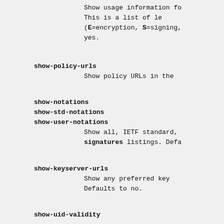Show usage information fo
This is a list of le
(E=encryption, S=signing,
yes.
show-policy-urls
Show policy URLs in the
show-notations
show-std-notations
show-user-notations
Show all, IETF standard,
signatures listings. Defa
show-keyserver-urls
Show any preferred key
Defaults to no.
show-uid-validity